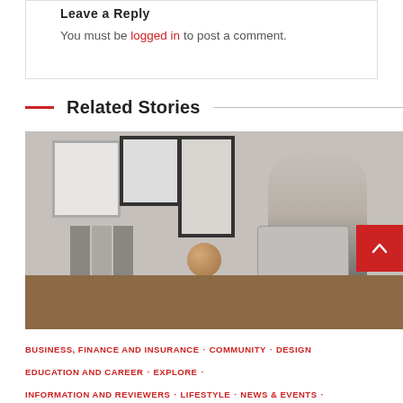Leave a Reply
You must be logged in to post a comment.
Related Stories
[Figure (photo): Woman sitting at a wooden desk with a laptop, globe lamp, and binders, with framed artwork on the wall behind her.]
BUSINESS, FINANCE AND INSURANCE · COMMUNITY · DESIGN · EDUCATION AND CAREER · EXPLORE · INFORMATION AND REVIEWERS · LIFESTYLE · NEWS & EVENTS ·